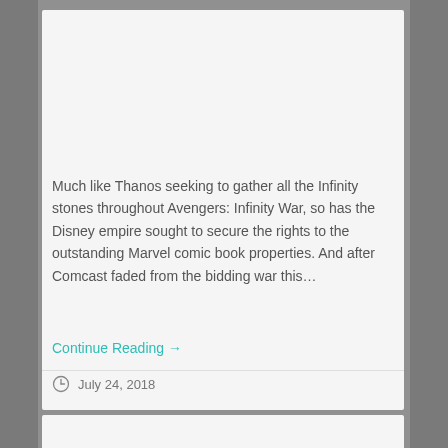Much like Thanos seeking to gather all the Infinity stones throughout Avengers: Infinity War, so has the Disney empire sought to secure the rights to the outstanding Marvel comic book properties. And after Comcast faded from the bidding war this…
Continue Reading →
July 24, 2018